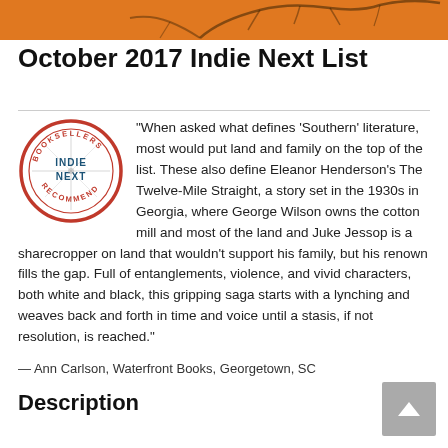[Figure (illustration): Orange decorative strip at top of page with abstract branch/tree silhouette artwork]
October 2017 Indie Next List
[Figure (logo): Indie Next Booksellers Recommend circular logo with compass rose in center]
“When asked what defines 'Southern' literature, most would put land and family on the top of the list. These also define Eleanor Henderson's The Twelve-Mile Straight, a story set in the 1930s in Georgia, where George Wilson owns the cotton mill and most of the land and Juke Jessop is a sharecropper on land that wouldn't support his family, but his renown fills the gap. Full of entanglements, violence, and vivid characters, both white and black, this gripping saga starts with a lynching and weaves back and forth in time and voice until a stasis, if not resolution, is reached.”
— Ann Carlson, Waterfront Books, Georgetown, SC
Description